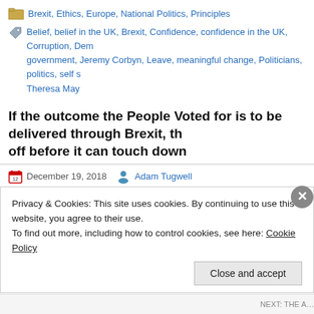Brexit, Ethics, Europe, National Politics, Principles
Belief, belief in the UK, Brexit, Confidence, confidence in the UK, Corruption, Demo government, Jeremy Corbyn, Leave, meaningful change, Politicians, politics, self s Theresa May
If the outcome the People Voted for is to be delivered through Brexit, th off before it can touch down
December 19, 2018   Adam Tugwell
[Figure (photo): A person wearing a hat viewed from behind, facing rocky terrain, in a sepia-toned image.]
Privacy & Cookies: This site uses cookies. By continuing to use this website, you agree to their use.
To find out more, including how to control cookies, see here: Cookie Policy
Close and accept